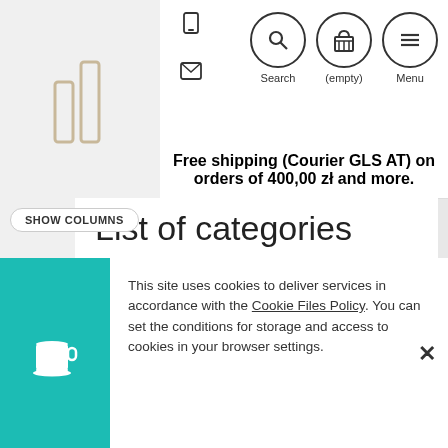[Figure (logo): Abstract logo with two vertical bar shapes]
[Figure (infographic): Navigation icons: phone, email, search circle, basket circle, menu circle]
Free shipping (Courier GLS AT) on orders of 400,00 zł and more.
SHOW COLUMNS
List of categories
Pearlescent pigments (Mica)
Foot care
Inserts
Discoloration treatment
Faces creams SPF
Blend
This site uses cookies to deliver services in accordance with the Cookie Files Policy. You can set the conditions for storage and access to cookies in your browser settings.